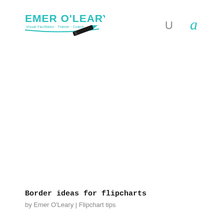[Figure (logo): Emer O'Leary logo — teal handwritten text 'EMER O'LEARY' with subtitle 'Visual Facilitator · Trainer · Coach', teal underline, and a marker illustration]
U
a
Border ideas for flipcharts
by Emer O'Leary | Flipchart tips